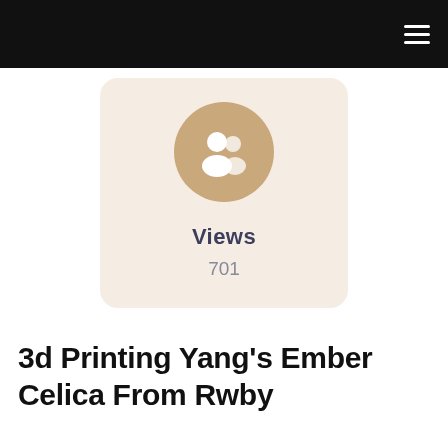[Figure (infographic): Beige rounded card with a tan circular icon showing a group of people (community/views icon), labeled 'Views' with a count of 701]
Views
701
3d Printing Yang's Ember Celica From Rwby